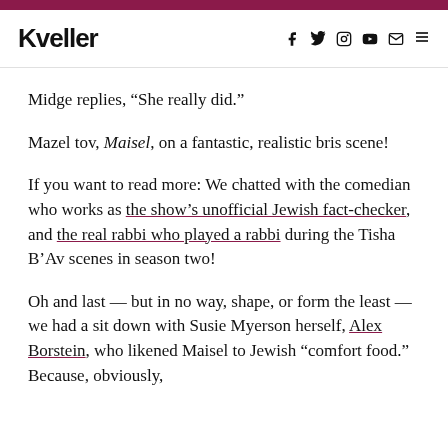Kveller
Midge replies, “She really did.”
Mazel tov, Maisel, on a fantastic, realistic bris scene!
If you want to read more: We chatted with the comedian who works as the show’s unofficial Jewish fact-checker, and the real rabbi who played a rabbi during the Tisha B’Av scenes in season two!
Oh and last — but in no way, shape, or form the least — we had a sit down with Susie Myerson herself, Alex Borstein, who likened Maisel to Jewish “comfort food.” Because, obviously,